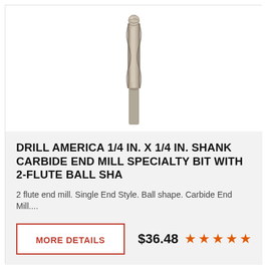[Figure (photo): A carbide end mill drill bit with 2-flute ball shape, shown vertically oriented against a white background. The bit has a twisted flute design and a silver-gray metallic finish.]
DRILL AMERICA 1/4 IN. X 1/4 IN. SHANK CARBIDE END MILL SPECIALTY BIT WITH 2-FLUTE BALL SHA
2 flute end mill. Single End Style. Ball shape. Carbide End Mill....
MORE DETAILS
$36.48